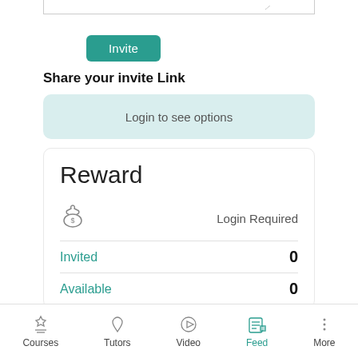[Figure (screenshot): Top portion of textarea input stub with resize icon]
Invite
Share your invite Link
Login to see options
Reward
Login Required
Invited 0
Available 0
Courses  Tutors  Video  Feed  More